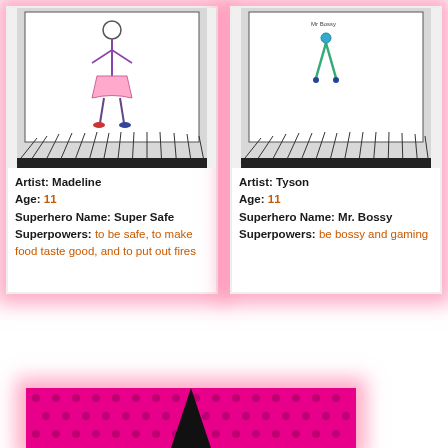[Figure (illustration): Child's hand-drawn superhero figure on white paper with radiating lines at bottom. Left panel artwork.]
Artist: Madeline
Age: 11
Superhero Name: Super Safe
Superpowers: to be safe, to make food taste good, and to put out fires
[Figure (illustration): Child's hand-drawn figure on white paper with radiating lines at bottom. Right panel artwork.]
Artist: Tyson
Age: 11
Superhero Name: Mr. Bossy
Superpowers: be bossy and gaming
[Figure (illustration): Partial view of a pink/magenta card with dark polka dot pattern at bottom of page.]